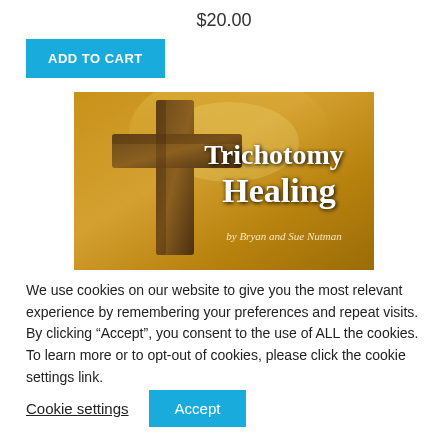$20.00
ADD TO CART
[Figure (illustration): Book cover image with a golden/brown background, a wooden cross on the left side, and text reading 'Trichotomy Healing by Bryan and Sue Nutman']
We use cookies on our website to give you the most relevant experience by remembering your preferences and repeat visits. By clicking “Accept”, you consent to the use of ALL the cookies. To learn more or to opt-out of cookies, please click the cookie settings link.
Cookie settings
Accept